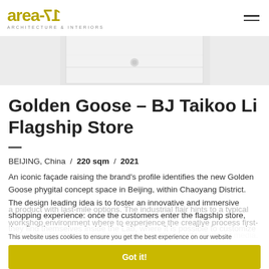area-17 ARCHITECTURE & INTERIORS
[Figure (photo): Partial view of a minimalist interior with white surfaces and a small object on a surface]
Golden Goose – BJ Taikoo Li Flagship Store
BEIJING, China  /  220 sqm  /  2021
An iconic façade raising the brand's profile identifies the new Golden Goose phygital concept space in Beijing, within Chaoyang District. The design leading idea is to foster an innovative and immersive shopping experience: once the customers enter the flagship store, they find themselves inside the Lab, where it is possible to customize a product with last-mile options. The industrial flair hints to a typical workshop environment where to experience the creative process first-hand. A photo booth then invites to share the results on social media.
This website uses cookies to ensure you get the best experience on our website
Got it!